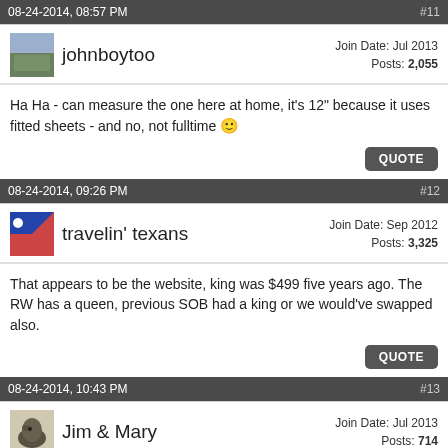08-24-2014, 08:57 PM  #11
johnboytoo  Join Date: Jul 2013  Posts: 2,055
Ha Ha - can measure the one here at home, it's 12" because it uses fitted sheets - and no, not fulltime 🙂
08-24-2014, 09:26 PM  #12
travelin' texans  Join Date: Sep 2012  Posts: 3,325
That appears to be the website, king was $499 five years ago. The RW has a queen, previous SOB had a king or we would've swapped also.
08-24-2014, 10:43 PM  #13
Jim & Mary  Join Date: Jul 2013  Posts: 714
We moved out queen memory foam topper out of our old travel trailer